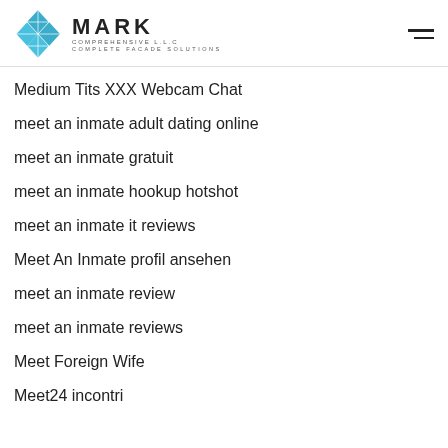MARK COMPREHENSIVE LLC — COMPLETE FACADE SOLUTIONS
Medium Tits XXX Webcam Chat
meet an inmate adult dating online
meet an inmate gratuit
meet an inmate hookup hotshot
meet an inmate it reviews
Meet An Inmate profil ansehen
meet an inmate review
meet an inmate reviews
Meet Foreign Wife
Meet24 incontri